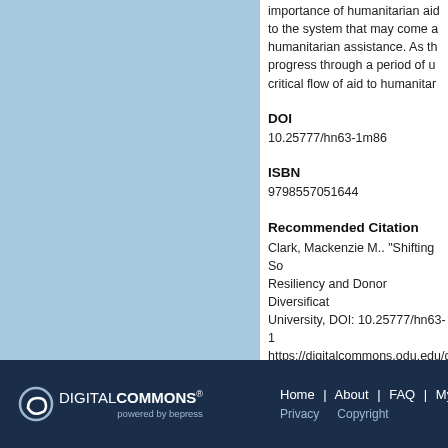importance of humanitarian aid … to the system that may come a … humanitarian assistance. As th … progress through a period of u … critical flow of aid to humanitar …
DOI
10.25777/hn63-1m86
ISBN
9798557051644
Recommended Citation
Clark, Mackenzie M.. "Shifting So … Resiliency and Donor Diversificat … University, DOI: 10.25777/hn63-1 … https://digitalcommons.odu.edu/g …
[Figure (logo): Digital Commons powered by bepress logo in white on dark navy background]
Home | About | FAQ | My … Privacy   Copyright